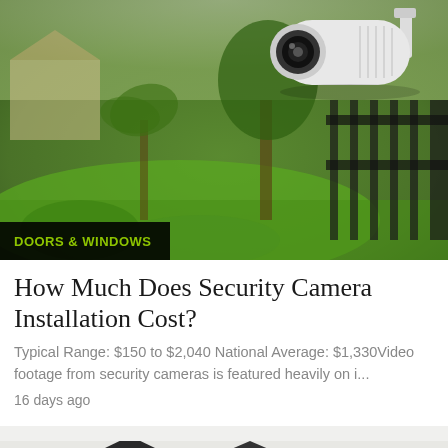[Figure (photo): Security camera mounted on a wall overlooking a green suburban backyard with trees, house, and fence in the background. Camera is white/grey bullet-style CCTV camera.]
DOORS & WINDOWS
How Much Does Security Camera Installation Cost?
Typical Range: $150 to $2,040 National Average: $1,330Video footage from security cameras is featured heavily on i...
16 days ago
[Figure (photo): Partial view of a house roofline with dark shingles against a grey-white sky.]